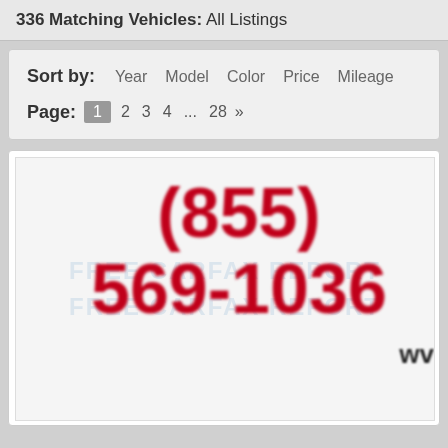336 Matching Vehicles: All Listings
Sort by:  Year  Model  Color  Price  Mileage
Page: 1  2  3  4  ...  28  »
[Figure (photo): A blurred vehicle listing image showing a phone number (855) 569-1036 in large bold red text, with partial 'ww' text visible at bottom right corner]